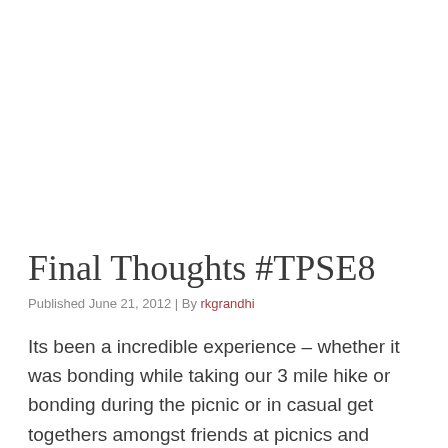Final Thoughts #TPSE8
Published June 21, 2012 | By rkgrandhi
Its been a incredible experience – whether it was bonding while taking our 3 mile hike or bonding during the picnic or in casual get togethers amongst friends at picnics and barbecues;  we exchanged thoughts and imagined a system committed to bold, new ways of